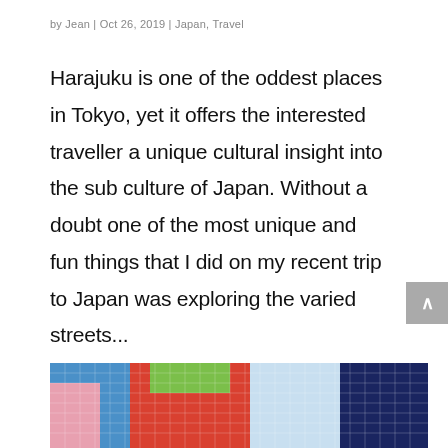by Jean | Oct 26, 2019 | Japan, Travel
Harajuku is one of the oddest places in Tokyo, yet it offers the interested traveller a unique cultural insight into the sub culture of Japan. Without a doubt one of the most unique and fun things that I did on my recent trip to Japan was exploring the varied streets...
[Figure (photo): Colorful mosaic tile mural with bold geometric shapes in red, blue, green, pink, and dark navy colors.]